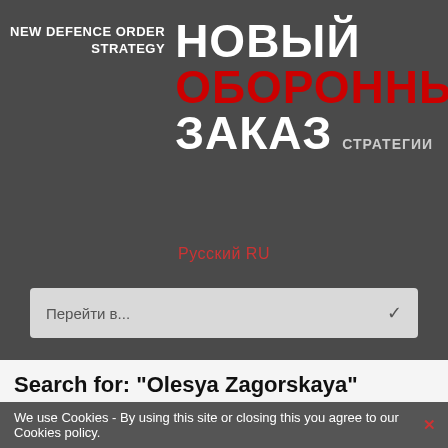[Figure (logo): New Defence Order Strategy logo with English and Russian text on dark grey background]
Русский RU
Перейти в...
Search for: "Olesya Zagorskaya"
We use Cookies - By using this site or closing this you agree to our Cookies policy.
"Olesya Zagorskaya"